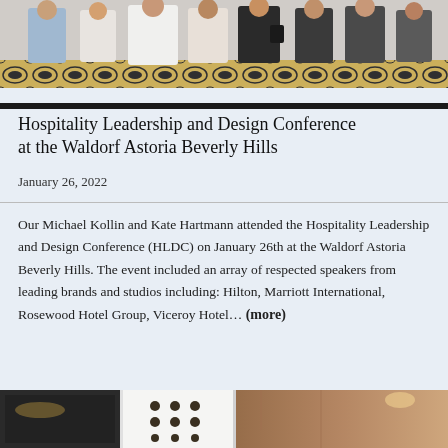[Figure (photo): Group photo of people standing together at the Hospitality Leadership and Design Conference at the Waldorf Astoria Beverly Hills, with a decorative patterned carpet visible on the floor.]
Hospitality Leadership and Design Conference at the Waldorf Astoria Beverly Hills
January 26, 2022
Our Michael Kollin and Kate Hartmann attended the Hospitality Leadership and Design Conference (HLDC) on January 26th at the Waldorf Astoria Beverly Hills. The event included an array of respected speakers from leading brands and studios including: Hilton, Marriott International, Rosewood Hotel Group, Viceroy Hotel... (more)
[Figure (photo): Bottom partial photo showing interior design elements — a dark room on the left, a panel with decorative hardware/knobs in the center, and a warm-toned architectural space on the right.]